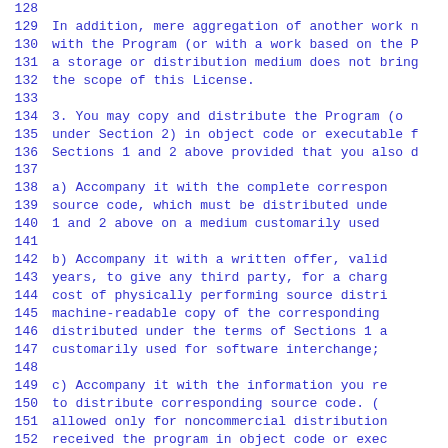128
129 In addition, mere aggregation of another work n
130 with the Program (or with a work based on the P
131 a storage or distribution medium does not bring
132 the scope of this License.
133
134    3. You may copy and distribute the Program (o
135 under Section 2) in object code or executable f
136 Sections 1 and 2 above provided that you also d
137
138      a) Accompany it with the complete correspon
139      source code, which must be distributed unde
140      1 and 2 above on a medium customarily used
141
142      b) Accompany it with a written offer, valid
143      years, to give any third party, for a charg
144      cost of physically performing source distri
145      machine-readable copy of the corresponding
146      distributed under the terms of Sections 1 a
147      customarily used for software interchange;
148
149      c) Accompany it with the information you re
150      to distribute corresponding source code. (
151      allowed only for noncommercial distribution
152      received the program in object code or exec
153      an offer, in accord with Subsection b above
154
155 The source code for a work means the preferred
156 making modifications to it.  For an executable
157 code means all the source code for all modules